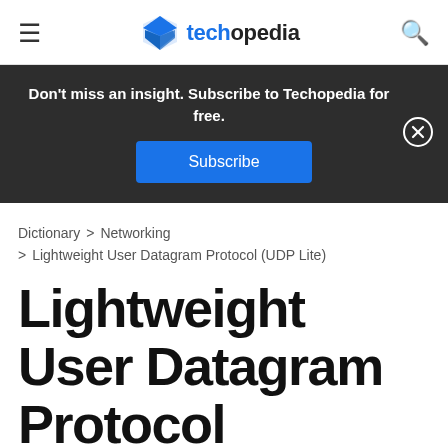techopedia
Don't miss an insight. Subscribe to Techopedia for free. Subscribe
Dictionary > Networking
> Lightweight User Datagram Protocol (UDP Lite)
Lightweight User Datagram Protocol